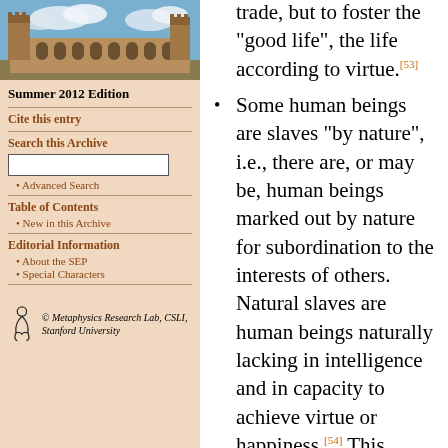[Figure (photo): Photograph of a university building (stone architecture with gothic style) against blue sky with clouds]
Summer 2012 Edition
Cite this entry
Search this Archive
Advanced Search
Table of Contents
New in this Archive
Editorial Information
About the SEP
Special Characters
© Metaphysics Research Lab, CSLI, Stanford University
trade, but to foster the “good life”, the life according to virtue.[53]
Some human beings are slaves “by nature”, i.e., there are, or may be, human beings marked out by nature for subordination to the interests of others. Natural slaves are human beings naturally lacking in intelligence and in capacity to achieve virtue or happiness.[54] This conflicted with the thinking of the New Testament (see §2.2), the lawyers (§6) and the Stoics and the Fathers of the Church (§2).